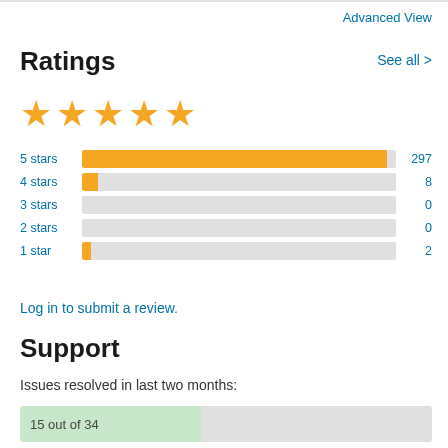Advanced View
Ratings
See all >
[Figure (other): Five gold star rating icons]
[Figure (bar-chart): Star ratings distribution]
Log in to submit a review.
Support
Issues resolved in last two months:
[Figure (other): Progress bar showing 15 out of 34 issues resolved, green fill on left portion]